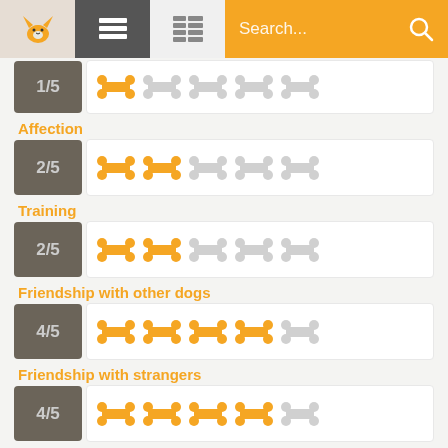[Figure (screenshot): Mobile app navigation bar with fox logo, list icon, grid icon, and orange search bar]
[Figure (infographic): Rating row showing 1/5 with one orange bone and four grey bones (partially visible at top)]
Affection
[Figure (infographic): Rating row showing 2/5 with two orange bones and three grey bones]
Training
[Figure (infographic): Rating row showing 2/5 with two orange bones and three grey bones]
Friendship with other dogs
[Figure (infographic): Rating row showing 4/5 with four orange bones and one grey bone]
Friendship with strangers
[Figure (infographic): Rating row showing 4/5 with four orange bones and one grey bone]
Watch dog
[Figure (infographic): Rating row showing 2/5 with two orange bones and three grey bones]